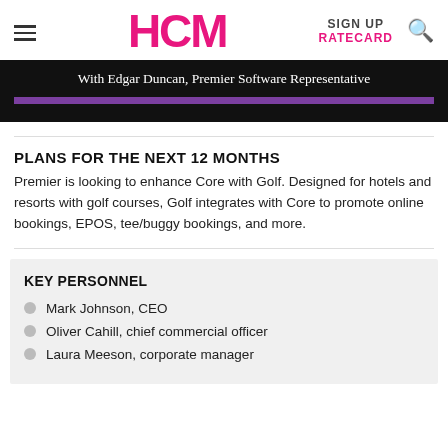HCM | SIGN UP | RATECARD
[Figure (other): Black banner with text 'With Edgar Duncan, Premier Software Representative' and a purple stripe below]
PLANS FOR THE NEXT 12 MONTHS
Premier is looking to enhance Core with Golf. Designed for hotels and resorts with golf courses, Golf integrates with Core to promote online bookings, EPOS, tee/buggy bookings, and more.
KEY PERSONNEL
Mark Johnson, CEO
Oliver Cahill, chief commercial officer
Laura Meeson, corporate manager